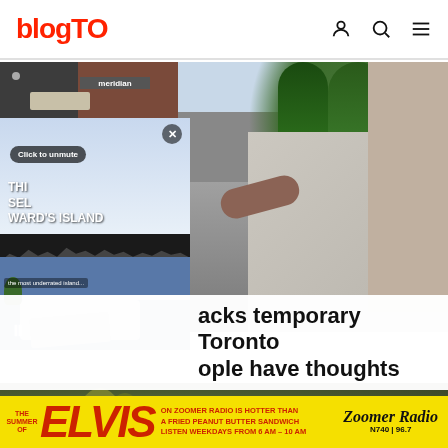blogTO
[Figure (photo): Street-level photo of a Toronto neighbourhood showing a sidewalk, parked cars, green grass median, trees, and pedestrians walking on the right side]
[Figure (screenshot): Video overlay thumbnail showing Ward's Island with Toronto skyline across the water, benches in foreground. Shows 'Click to unmute' button and 'THIS SELF WARD'S ISLAND' text labels and pause button]
acks temporary Toronto ople have thoughts
[Figure (photo): Bottom strip showing a green/natural scene, partially visible]
[Figure (other): Advertisement banner: The Summer of ELVIS on Zoomer Radio is hotter than a fried peanut butter sandwich. Listen weekdays from 6 AM - 10 AM. Zoomer Radio N740 96.7.]